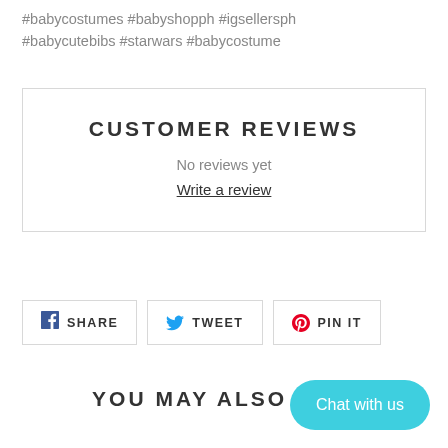#babycostumes #babyshopph #igsellersph #babycutebibs #starwars #babycostume
CUSTOMER REVIEWS
No reviews yet
Write a review
SHARE
TWEET
PIN IT
YOU MAY ALSO LIKE
Chat with us